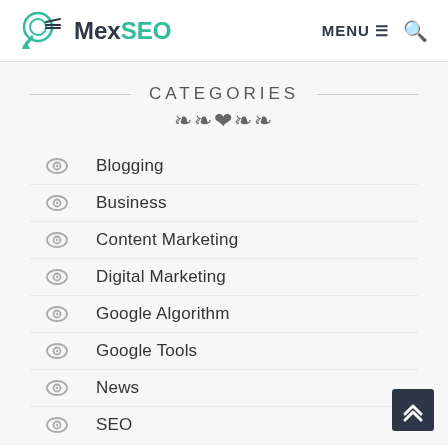MexSEO — MENU navigation and search
CATEGORIES
Blogging
Business
Content Marketing
Digital Marketing
Google Algorithm
Google Tools
News
SEO